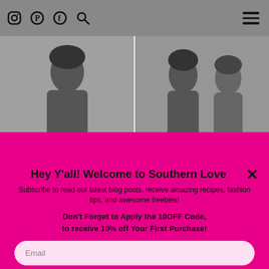Social icons and hamburger menu
[Figure (photo): Two side-by-side photos of women in winter outerwear and hats, gray/muted tones]
Hey Y'all! Welcome to Southern Love
Subscribe to read our latest blog posts, receive amazing recipes, fashion tips, and awesome freebies!
Don't Forget to Apply the 10OFF Code, to receive 10% off Your First Purchase!
Email
Name
SUBSCRIBE